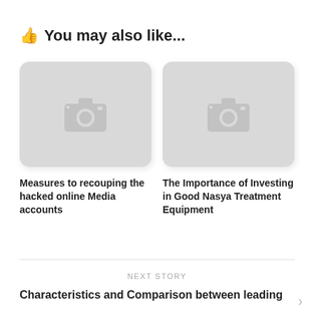👍 You may also like...
[Figure (photo): Placeholder image thumbnail with camera icon for article: Measures to recouping the hacked online Media accounts]
Measures to recouping the hacked online Media accounts
[Figure (photo): Placeholder image thumbnail with camera icon for article: The Importance of Investing in Good Nasya Treatment Equipment]
The Importance of Investing in Good Nasya Treatment Equipment
NEXT STORY
Characteristics and Comparison between leading